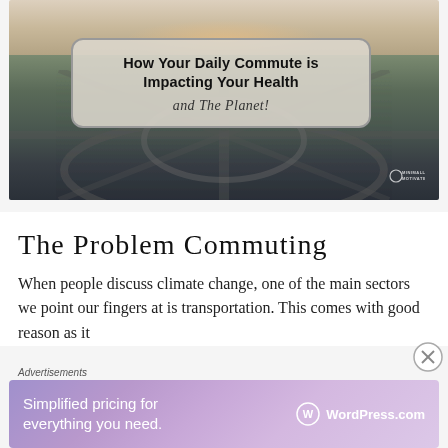[Figure (photo): Aerial photo of highway interchange with a sunset sky. Overlaid with a rounded rectangle title box reading 'How Your Daily Commute is Impacting Your Health and The Planet!' with a small watermark logo in the bottom right corner.]
The Problem Commuting
When people discuss climate change, one of the main sectors we point our fingers at is transportation. This comes with good reason as it
Advertisements
[Figure (other): WordPress.com advertisement banner with gradient purple/pink background. Text reads 'Simplified pricing for everything you need.' with WordPress.com logo on the right.]